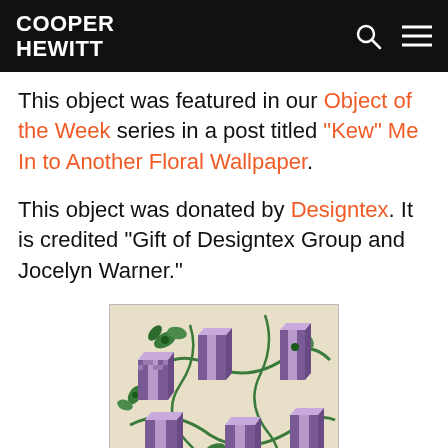COOPER HEWITT
This object was featured in our Object of the Week series in a post titled "Kew" Me In to Another Floral Wallpaper.
This object was donated by Designtex. It is credited “Gift of Designtex Group and Jocelyn Warner.”
[Figure (illustration): Wallpaper pattern with isometric 3D block letter forms in purple/mauve checkered pattern, surrounded by green floral and vine motifs on a cream background.]